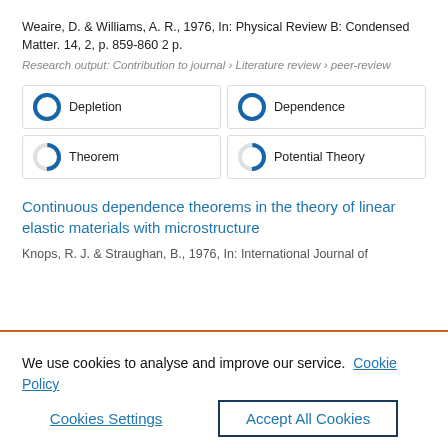Weaire, D. & Williams, A. R., 1976, In: Physical Review B: Condensed Matter. 14, 2, p. 859-860 2 p.
Research output: Contribution to journal › Literature review › peer-review
[Figure (infographic): Four keyword boxes in 2x2 grid with donut/circle indicators: Depletion (100%), Dependence (100%), Theorem (50%), Potential Theory (50%)]
Continuous dependence theorems in the theory of linear elastic materials with microstructure
Knops, R. J. & Straughan, B., 1976, In: International Journal of
We use cookies to analyse and improve our service. Cookie Policy
Cookies Settings
Accept All Cookies